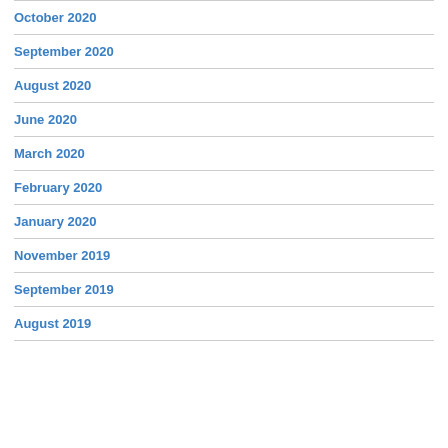October 2020
September 2020
August 2020
June 2020
March 2020
February 2020
January 2020
November 2019
September 2019
August 2019